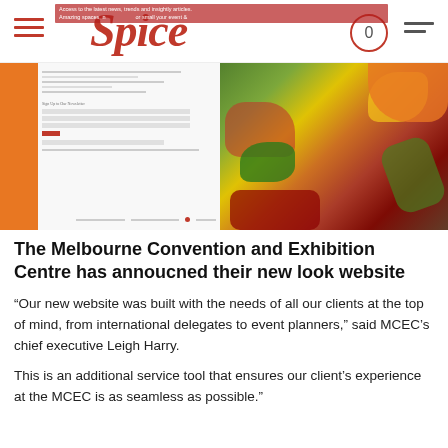Spice
[Figure (screenshot): Screenshot of the Melbourne Convention and Exhibition Centre website showing an orange sidebar, newsletter sign-up form, and a photo of colorful food/vegetables on the right side.]
The Melbourne Convention and Exhibition Centre has annoucned their new look website
“Our new website was built with the needs of all our clients at the top of mind, from international delegates to event planners,” said MCEC’s chief executive Leigh Harry.
This is an additional service tool that ensures our client’s experience at the MCEC is as seamless as possible.”